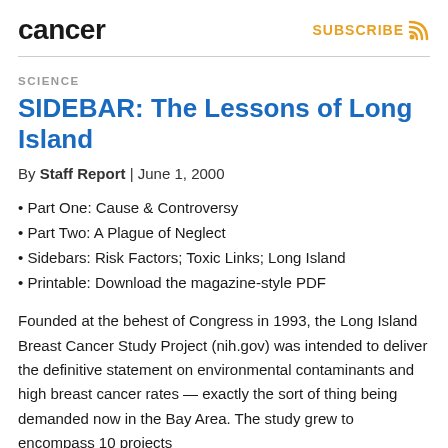cancer
SUBSCRIBE
SCIENCE
SIDEBAR: The Lessons of Long Island
By Staff Report | June 1, 2000
Part One: Cause & Controversy
Part Two: A Plague of Neglect
Sidebars: Risk Factors; Toxic Links; Long Island
Printable: Download the magazine-style PDF
Founded at the behest of Congress in 1993, the Long Island Breast Cancer Study Project (nih.gov) was intended to deliver the definitive statement on environmental contaminants and high breast cancer rates — exactly the sort of thing being demanded now in the Bay Area. The study grew to encompass 10 projects